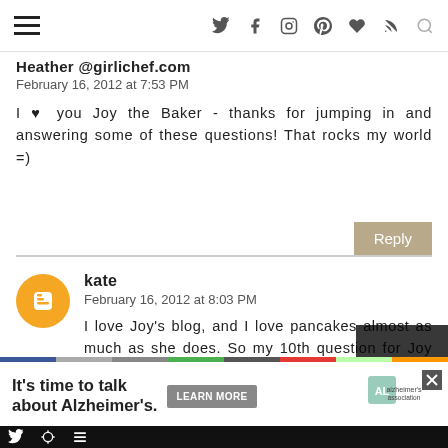Navigation bar with hamburger menu and social icons
Heather @girlichef.com
February 16, 2012 at 7:53 PM
I ♥ you Joy the Baker - thanks for jumping in and answering some of these questions! That rocks my world =)
Reply
kate
February 16, 2012 at 8:03 PM
I love Joy's blog, and I love pancakes almost as much as she does. So my 10th question for Joy would be: what is your favourite pancake recipe?
[Figure (infographic): Alzheimer's association advertisement banner reading 'It's time to talk about Alzheimer's.' with a Learn More button and Alzheimer's Association logo]